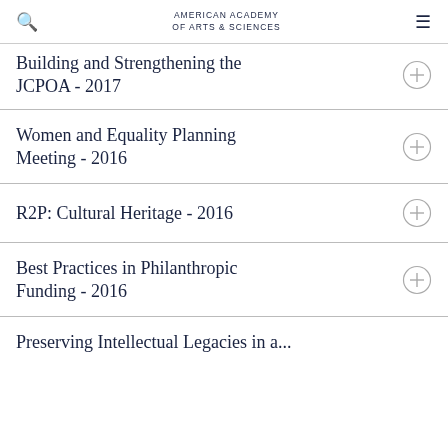American Academy of Arts & Sciences
Building and Strengthening the JCPOA - 2017
Women and Equality Planning Meeting - 2016
R2P: Cultural Heritage - 2016
Best Practices in Philanthropic Funding - 2016
Preserving Intellectual Legacies in a...